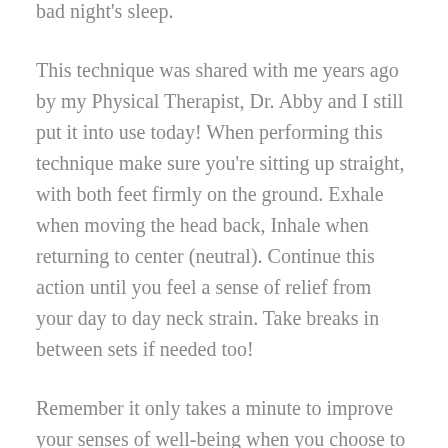bad night's sleep.
This technique was shared with me years ago by my Physical Therapist, Dr. Abby and I still put it into use today! When performing this technique make sure you're sitting up straight, with both feet firmly on the ground. Exhale when moving the head back, Inhale when returning to center (neutral). Continue this action until you feel a sense of relief from your day to day neck strain. Take breaks in between sets if needed too!
Remember it only takes a minute to improve your senses of well-being when you choose to move mindfully, so get moving and I'll see you next time!
(if you have chronic neck issues seek the help of a